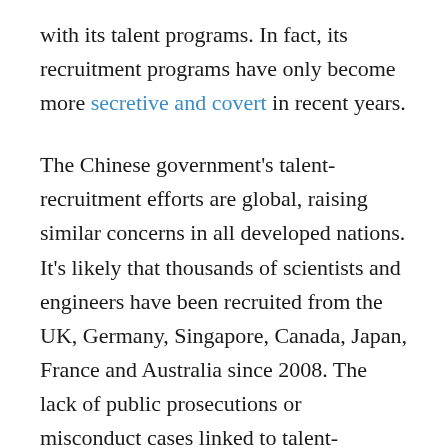with its talent programs. In fact, its recruitment programs have only become more secretive and covert in recent years.
The Chinese government's talent-recruitment efforts are global, raising similar concerns in all developed nations. It's likely that thousands of scientists and engineers have been recruited from the UK, Germany, Singapore, Canada, Japan, France and Australia since 2008. The lack of public prosecutions or misconduct cases linked to talent-recruitment activity in those countries is likely due to the early stage of their awareness of the implications of these recruitment programs.
The...